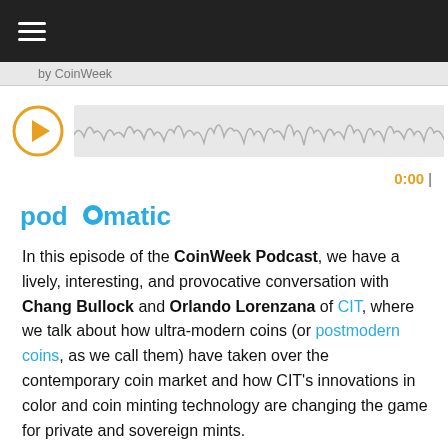≡ (hamburger menu)
by CoinWeek
[Figure (other): Audio player with orange play button and waveform visualization]
0:00
[Figure (logo): Podomatic logo in blue and teal colors]
In this episode of the CoinWeek Podcast, we have a lively, interesting, and provocative conversation with Chang Bullock and Orlando Lorenzana of CIT, where we talk about how ultra-modern coins (or postmodern coins, as we call them) have taken over the contemporary coin market and how CIT's innovations in color and coin minting technology are changing the game for private and sovereign mints. You cannot walk away from this podcast without learning something about the way minting has changed–and has always